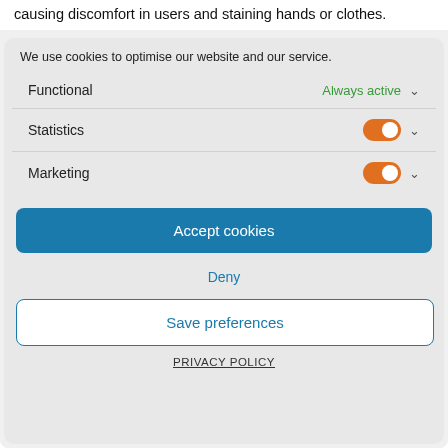causing discomfort in users and staining hands or clothes.
We use cookies to optimise our website and our service.
Functional — Always active
Statistics — toggle on
Marketing — toggle on
Accept cookies
Deny
Save preferences
PRIVACY POLICY